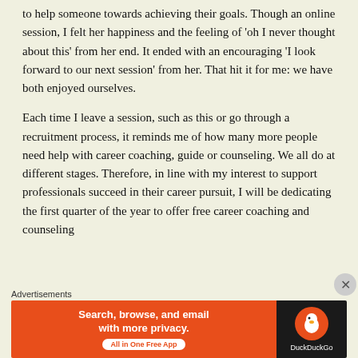to help someone towards achieving their goals. Though an online session, I felt her happiness and the feeling of ‘oh I never thought about this’ from her end.  It ended with an encouraging ‘I look forward to our next session’ from her.  That hit it for me:  we have both enjoyed ourselves.
Each time I leave a session, such as this or go through a recruitment process, it reminds me of how many more people need help with career coaching, guide or counseling. We all do at different stages.  Therefore, in line with my interest to support professionals succeed in their career pursuit, I will be dedicating the first quarter of the year to offer free career coaching and counseling
Advertisements
[Figure (other): DuckDuckGo advertisement banner with orange left panel saying 'Search, browse, and email with more privacy. All in One Free App' and dark right panel with DuckDuckGo logo]